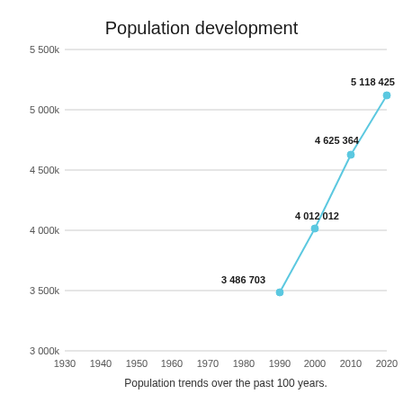[Figure (line-chart): Population development]
Population trends over the past 100 years.